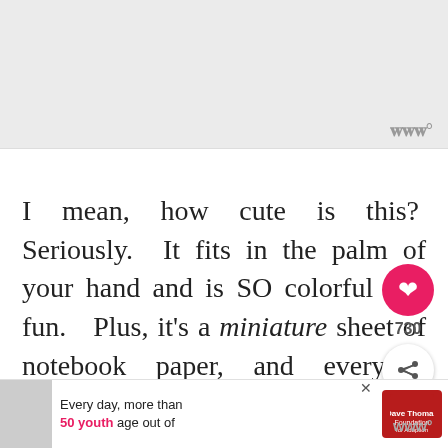[Figure (other): Gray advertisement banner placeholder at top of page]
I mean, how cute is this?  Seriously.  It fits in the palm of your hand and is SO colorful and fun.  Plus, it's a miniature sheet of notebook paper, and everyone knows that things are 10 times cuter in mini (ature) form.  They just are.
[Figure (other): Bottom advertisement banner: 'Every day, more than 50 youth age out of' with Dave Thomas Foundation for Adoption logo]
www°